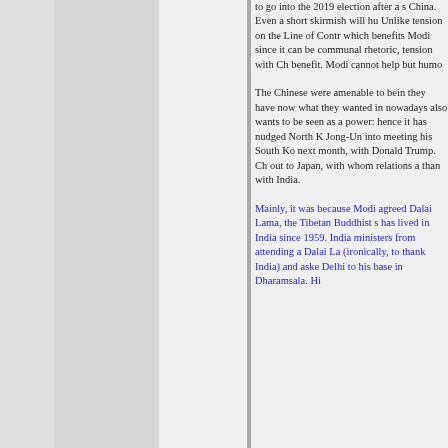to go into the 2019 election after a s China. Even a short skirmish will hu Unlike tension on the Line of Contr which benefits Modi since it can be communal rhetoric, tension with Ch benefit. Modi cannot help but humo
The Chinese were amenable to bein they have now what they wanted in nowadays also wants to be seen as a power: hence it has nudged North K Jong-Un into meeting his South Ko next month, with Donald Trump. Ch out to Japan, with whom relations a than with India.
Mainly, it was because Modi agreed Dalai Lama, the Tibetan Buddhist s has lived in India since 1959. India ministers from attending a Dalai La (ironically, to thank India) and aske Delhi to his base in Dharamsala. Hi